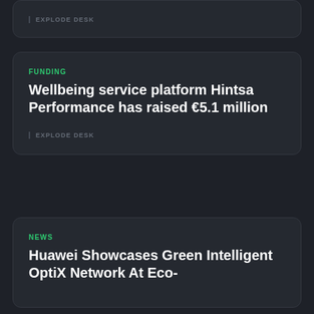EXPLODE DESK
FUNDING
Wellbeing service platform Hintsa Performance has raised €5.1 million
EXPLODE DESK
NEWS
Huawei Showcases Green Intelligent OptiX Network At Eco-